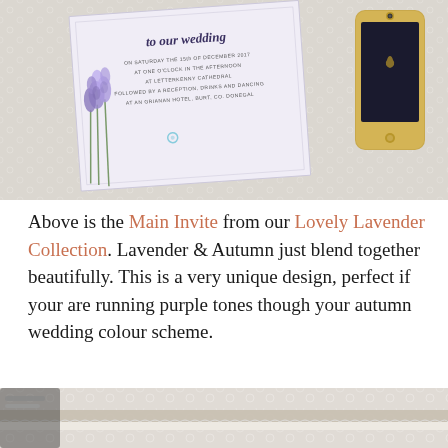[Figure (photo): Top photo showing a wedding invite card with lavender flowers and a gold iPhone on a lace/rustic background]
Above is the Main Invite from our Lovely Lavender Collection. Lavender & Autumn just blend together beautifully. This is a very unique design, perfect if your are running purple tones though your autumn wedding colour scheme.
[Figure (photo): Bottom photo showing a rustic/lace wedding accessory on a white lace background]